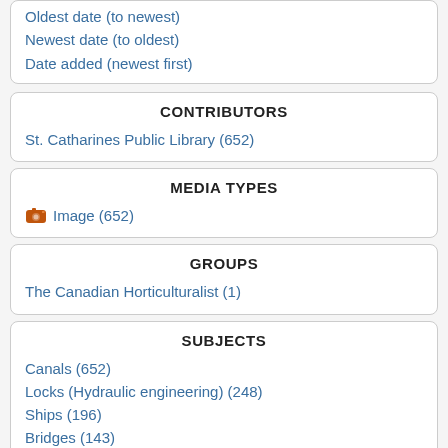Oldest date (to newest)
Newest date (to oldest)
Date added (newest first)
CONTRIBUTORS
St. Catharines Public Library (652)
MEDIA TYPES
Image (652)
GROUPS
The Canadian Horticulturalist (1)
SUBJECTS
Canals (652)
Locks (Hydraulic engineering) (248)
Ships (196)
Bridges (143)